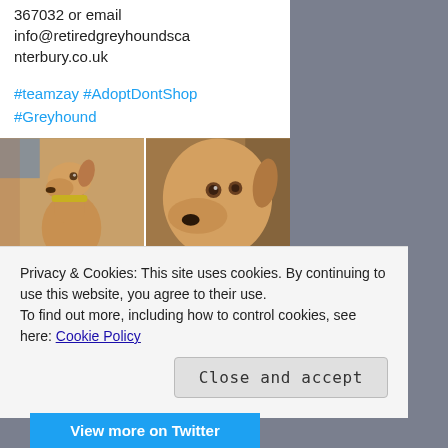367032 or email info@retiredgreyhoundscanterbury.co.uk
#teamzay #AdoptDontShop #Greyhound
[Figure (photo): Four photos of a tan/golden greyhound dog arranged in a 2x2 grid. Top left: greyhound wearing a yellow collar. Top right: close-up face of greyhound. Bottom left: greyhound with person in jeans. Bottom right: greyhound with person's hand on it.]
Privacy & Cookies: This site uses cookies. By continuing to use this website, you agree to their use.
To find out more, including how to control cookies, see here: Cookie Policy
Close and accept
View more on Twitter